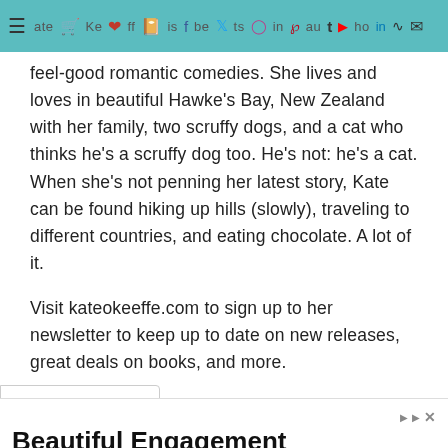Kate O'Keeffe — navigation bar with social icons
feel-good romantic comedies. She lives and loves in beautiful Hawke's Bay, New Zealand with her family, two scruffy dogs, and a cat who thinks he's a scruffy dog too. He's not: he's a cat. When she's not penning her latest story, Kate can be found hiking up hills (slowly), traveling to different countries, and eating chocolate. A lot of it.
Visit kateokeeffe.com to sign up to her newsletter to keep up to date on new releases, great deals on books, and more.
[Figure (other): Advertisement banner: Beautiful Engagement Rings — Men's and Women's Diamond Rings in a Variety of Styles and Cuts. Free Shipping! Bliss Diamond. With an Open button.]